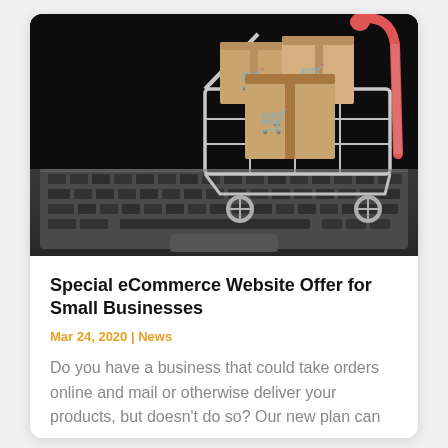[Figure (photo): A small shopping cart filled with cardboard boxes printed with shopping cart icons, placed on top of a laptop keyboard. Photo has dark background with the cart's red handle visible.]
Special eCommerce Website Offer for Small Businesses
Mar 24, 2020 | News
Do you have a business that could take orders online and mail or otherwise deliver your products, but doesn't do so? Our new plan can